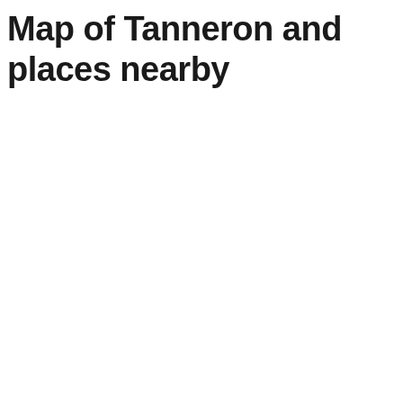Map of Tanneron and places nearby